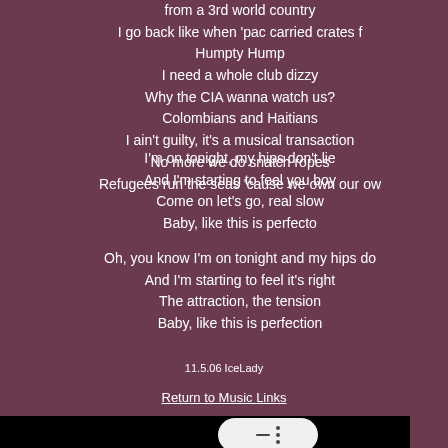from a 3rd world country
I go back like when 'pac carried crates f
Humpty Hump
I need a whole club dizzy
Why the CIA wanna watch us?
Colombians and Haitians
I ain't guilty, it's a musical transaction
No more we do snatch ropes
Refugees run the seas 'cause we own our ow
I'm on tonight, my hips don't lie
And I'm starting to feel you boy
Come on let's go, real slow
Baby, like this is perfecto
Oh, you know I'm on tonight and my hips do
And I'm starting to feel it's right
The attraction, the tension
Baby, like this is perfection
11.5.06 IceLady
Return to Music Links